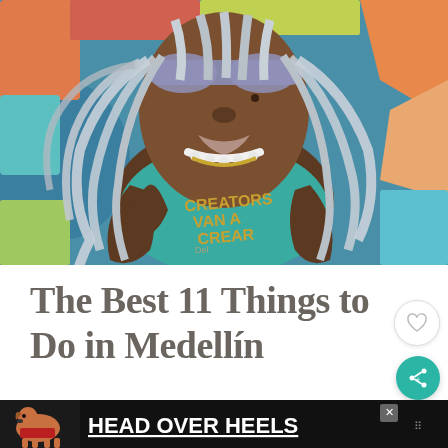[Figure (photo): Colorful street mural painting of a Black woman with long light-colored dreadlocks and sunglasses, wearing a teal t-shirt that reads 'CREATORS VAN A CREAR', resting her chin on her hand. Surrounded by vibrant graffiti art in orange, teal, blue, and pink colors.]
The Best 11 Things to Do in Medellín
[Figure (infographic): Advertisement banner with black background, image of a dog (brown/tan terrier), and bold white underlined text reading 'HEAD OVER HEELS'. An X close button is visible in the upper right of the ad. A sound/speaker icon appears at the far right.]